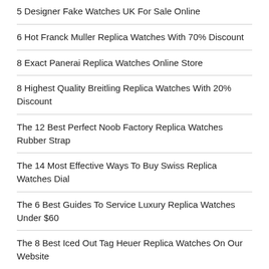5 Designer Fake Watches UK For Sale Online
6 Hot Franck Muller Replica Watches With 70% Discount
8 Exact Panerai Replica Watches Online Store
8 Highest Quality Breitling Replica Watches With 20% Discount
The 12 Best Perfect Noob Factory Replica Watches Rubber Strap
The 14 Most Effective Ways To Buy Swiss Replica Watches Dial
The 6 Best Guides To Service Luxury Replica Watches Under $60
The 8 Best Iced Out Tag Heuer Replica Watches On Our Website